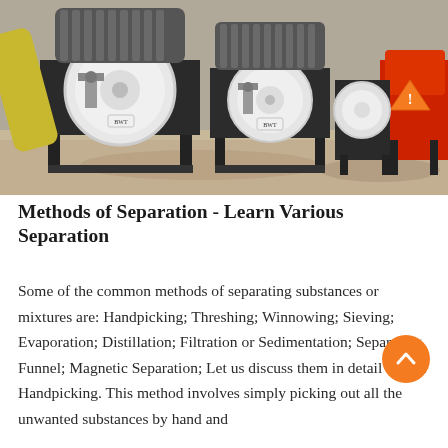[Figure (photo): Photograph of industrial magnetic separation machines (drum separators) in white and black, arranged outdoors on sandy ground, with a red machine visible on the right edge.]
Methods of Separation - Learn Various Separation
Some of the common methods of separating substances or mixtures are: Handpicking; Threshing; Winnowing; Sieving; Evaporation; Distillation; Filtration or Sedimentation; Separating Funnel; Magnetic Separation; Let us discuss them in detail below. Handpicking. This method involves simply picking out all the unwanted substances by hand and